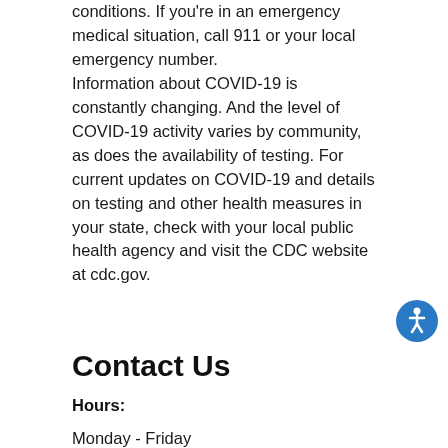conditions. If you're in an emergency medical situation, call 911 or your local emergency number.
Information about COVID-19 is constantly changing. And the level of COVID-19 activity varies by community, as does the availability of testing. For current updates on COVID-19 and details on testing and other health measures in your state, check with your local public health agency and visit the CDC website at cdc.gov.
[Figure (illustration): Blue circular accessibility icon with white wheelchair/person symbol]
Contact Us
Hours:
Monday - Friday
8:00am - 4:15pm
Phone: 518-255-5225
Fax: 518-255-5819
wellnesscenter@cobleskill.edu